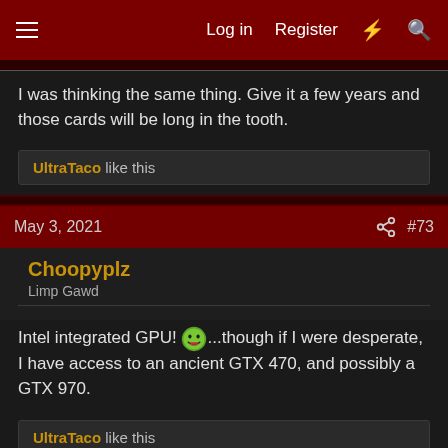Log in  Register
I was thinking the same thing. Give it a few years and those cards will be long in the tooth.
UltraTaco like this
May 3, 2021  #73
Choopyplz
Limp Gawd
Intel integrated GPU! 😁...though if I were desperate, I have access to an ancient GTX 470, and possibly a GTX 970.
UltraTaco like this
May 3, 2021  #74
bititnguitit